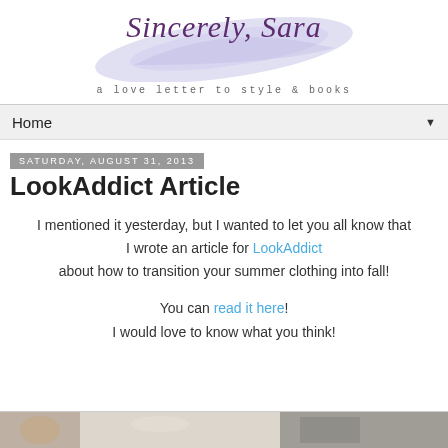Sincerely, Sara — a love letter to style & books
Home
Saturday, August 31, 2013
LookAddict Article
I mentioned it yesterday, but I wanted to let you all know that I wrote an article for LookAddict about how to transition your summer clothing into fall!
You can read it here! I would love to know what you think!
[Figure (photo): Partial view of a fashion photo strip at the bottom of the page]